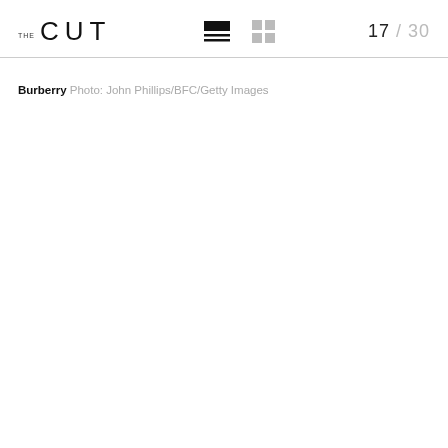THE CUT  17 / 30
Burberry Photo: John Phillips/BFC/Getty Images